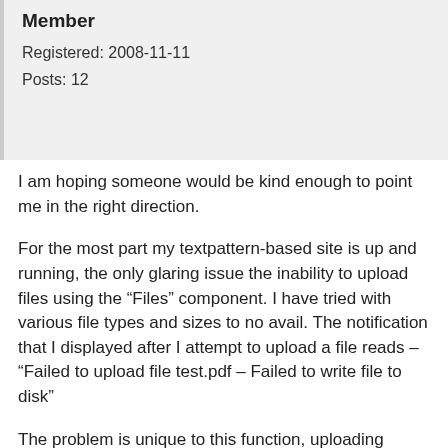Member
Registered: 2008-11-11
Posts: 12
I am hoping someone would be kind enough to point me in the right direction.
For the most part my textpattern-based site is up and running, the only glaring issue the inability to upload files using the “Files” component. I have tried with various file types and sizes to no avail. The notification that I displayed after I attempt to upload a file reads – “Failed to upload file test.pdf – Failed to write file to disk”
The problem is unique to this function, uploading image does not pose any problems and the permissions for both the Images folder and the Files folder are both set to 755